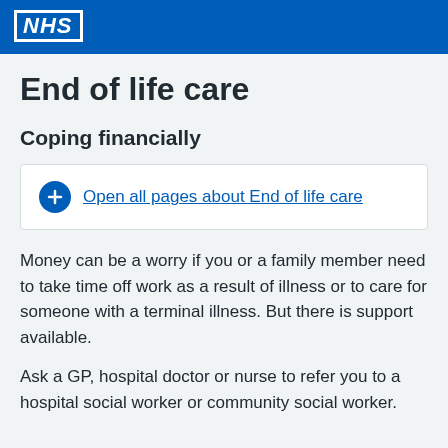NHS
End of life care
Coping financially
Open all pages about End of life care
Money can be a worry if you or a family member need to take time off work as a result of illness or to care for someone with a terminal illness. But there is support available.
Ask a GP, hospital doctor or nurse to refer you to a hospital social worker or community social worker.